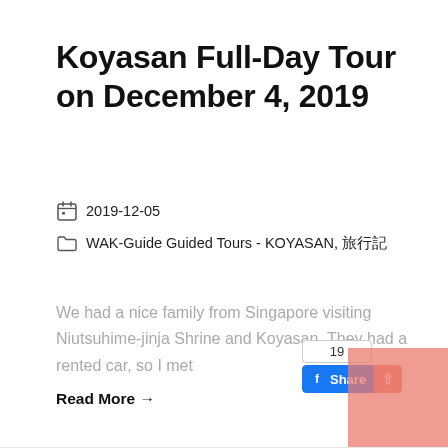Koyasan Full-Day Tour on December 4, 2019
2019-12-05
WAK-Guide Guided Tours - KOYASAN, 旅行記
We had a nice family from Singapore visiting Niutsuhime-jinja Shrine and Koyasan. They had a rented car, so I met
Read More →
[Figure (screenshot): Facebook share button widget showing count 19 and a Share button in blue with thumbs-up icon]